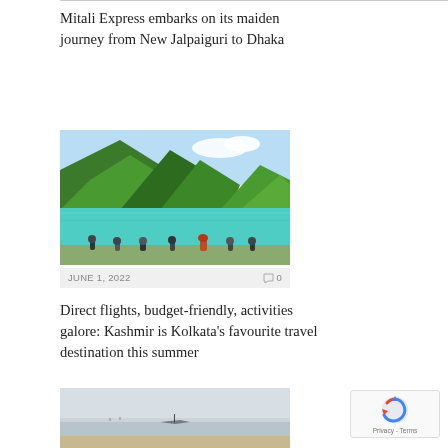Mitali Express embarks on its maiden journey from New Jalpaiguri to Dhaka
[Figure (photo): Mountain lake scene with green hills and people sitting by turquoise water]
JUNE 1, 2022    💬 0
Direct flights, budget-friendly, activities galore: Kashmir is Kolkata's favourite travel destination this summer
[Figure (photo): Misty coastal or lake scene with a boat and sandy shore, partially visible]
[Figure (other): reCAPTCHA widget showing Privacy - Terms]